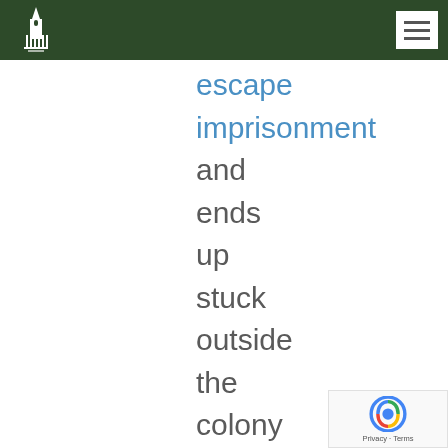escape imprisonment and ends up stuck outside the colony with her. Eventually, though,